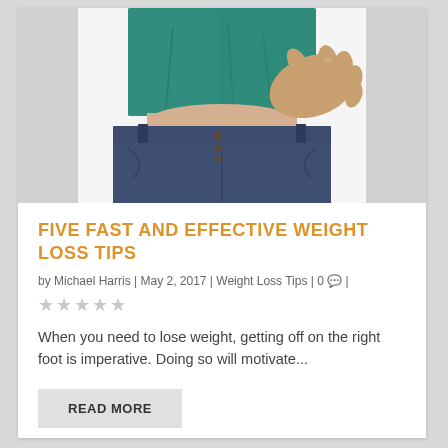[Figure (photo): Photo of a person in a teal/green shirt and dark blue jeans, grabbing belly fat with their hand against a white background.]
FIVE FAST AND EFFECTIVE WEIGHT LOSS TIPS
by Michael Harris | May 2, 2017 | Weight Loss Tips | 0 💬 |
★★★★★ (0 out of 5 stars, empty stars shown)
When you need to lose weight, getting off on the right foot is imperative. Doing so will motivate...
READ MORE